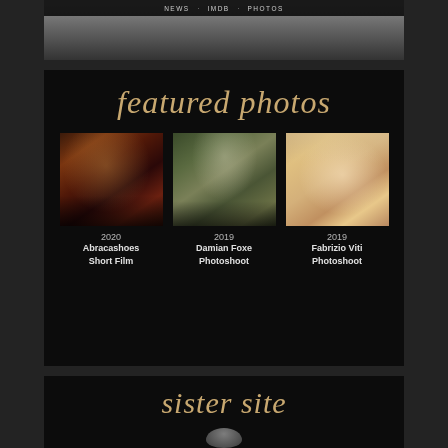NEWS · IMDB · PHOTOS
[Figure (photo): Top strip with partial celebrity photo and navigation bar showing NEWS · IMDB · PHOTOS]
featured photos
[Figure (photo): 2020 Abracashoes Short Film photo - woman in black feathered dress in warm-lit interior]
[Figure (photo): 2019 Damian Foxe Photoshoot - woman standing in ivy-covered stone doorway]
[Figure (photo): 2019 Fabrizio Viti Photoshoot - close-up portrait of blonde woman]
2020
Abracashoes
Short Film
2019
Damian Foxe
Photoshoot
2019
Fabrizio Viti
Photoshoot
sister site